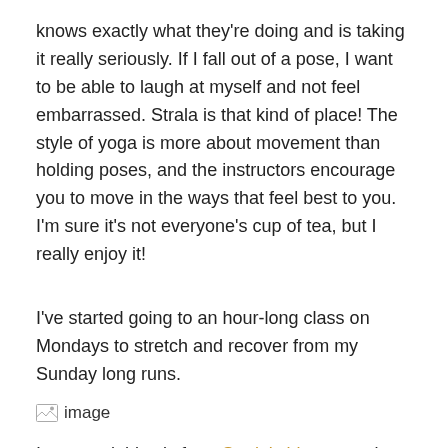knows exactly what they're doing and is taking it really seriously. If I fall out of a pose, I want to be able to laugh at myself and not feel embarrassed. Strala is that kind of place! The style of yoga is more about movement than holding poses, and the instructors encourage you to move in the ways that feel best to you. I'm sure it's not everyone's cup of tea, but I really enjoy it!
I've started going to an hour-long class on Mondays to stretch and recover from my Sunday long runs.
[Figure (photo): Broken image placeholder labeled 'image']
I snagged this pic from Strala's blog post about the ClassPass event (I'm somewhere to the right of the frame). There were more than 50 people there! In the classes I've attended since, there's been about five or six people — so much more room to breathe. 🙂
In the month I've had ClassPass, I've taken three Barre3 classes